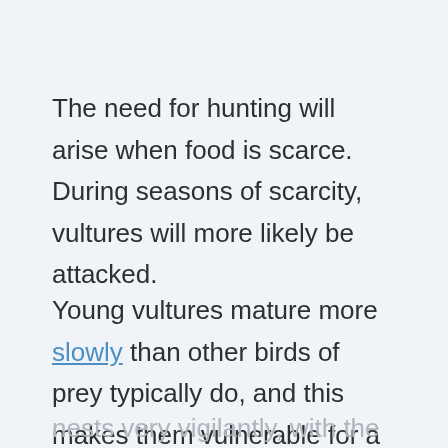The need for hunting will arise when food is scarce. During seasons of scarcity, vultures will more likely be attacked.
Young vultures mature more slowly than other birds of prey typically do, and this makes them vulnerable for a longer period of time. As a result, vultures guard their
nests very vigilantly, with the male and